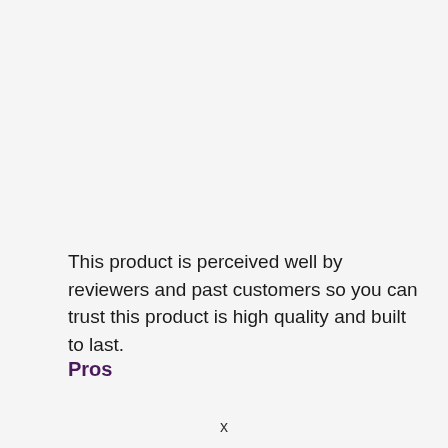This product is perceived well by reviewers and past customers so you can trust this product is high quality and built to last.
Pros